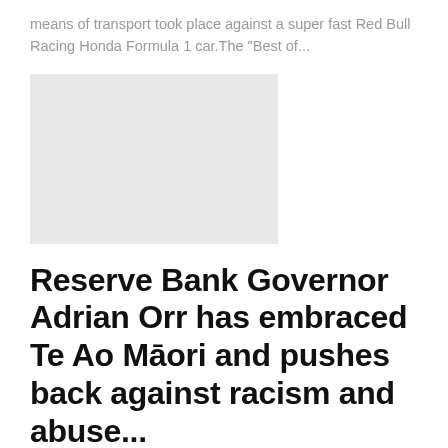means of transport took place against a super fast Red Bull Racing Honda Formula 1 car.The "Best of..."
[Figure (photo): Gray placeholder image rectangle]
Reserve Bank Governor Adrian Orr has embraced Te Ao Māori and pushes back against racism and abuse...
Ralph S. Dillon • Jul 17, 2021   💬 0
Reserve Bank Governor Adrian Orr said racism may be behind